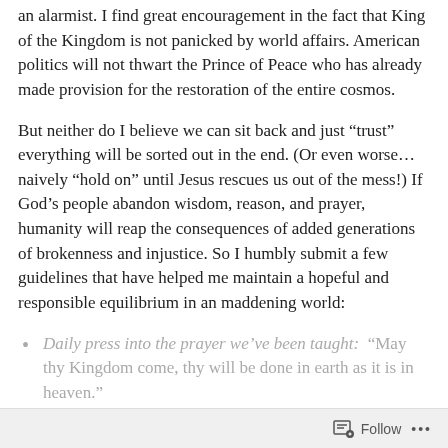an alarmist.  I find great encouragement in the fact that King of the Kingdom is not panicked by world affairs.  American politics will not thwart the Prince of Peace who has already made provision for the restoration of the entire cosmos.
But neither do I believe we can sit back and just “trust” everything will be sorted out in the end.  (Or even worse… naively “hold on” until Jesus rescues us out of the mess!)  If God’s people abandon wisdom, reason, and prayer, humanity will reap the consequences of added generations of brokenness and injustice.  So I humbly submit a few guidelines that have helped me maintain a hopeful and responsible equilibrium in an maddening world:
Daily press into the prayer we’ve been taught:  “May thy Kingdom come, thy will be done in earth as it is in heaven.”
Follow …